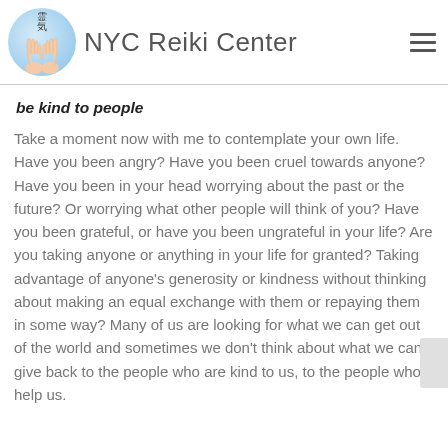NYC Reiki Center
be kind to people
Take a moment now with me to contemplate your own life. Have you been angry? Have you been cruel towards anyone? Have you been in your head worrying about the past or the future? Or worrying what other people will think of you? Have you been grateful, or have you been ungrateful in your life? Are you taking anyone or anything in your life for granted? Taking advantage of anyone's generosity or kindness without thinking about making an equal exchange with them or repaying them in some way? Many of us are looking for what we can get out of the world and sometimes we don't think about what we can give back to the people who are kind to us, to the people who help us.